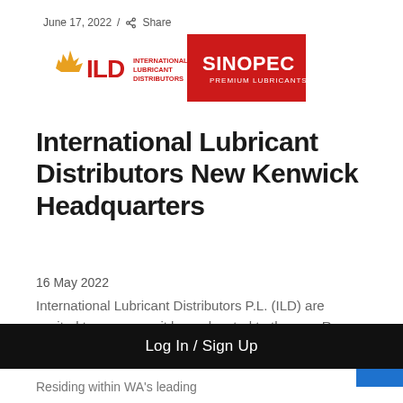June 17, 2022 / Share
[Figure (logo): ILD International Lubricant Distributors and Sinopec Premium Lubricants combined logo banner]
International Lubricant Distributors New Kenwick Headquarters
16 May 2022
International Lubricant Distributors P.L. (ILD) are excited to announce it has relocated to the new Roe Highway Logistics Park
Residing within WA's leading